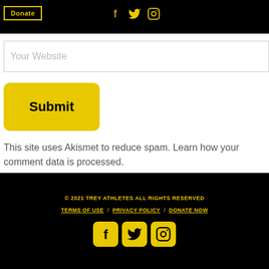Donate
[Figure (infographic): Header social icons: Facebook, Twitter, Instagram in yellow on black]
Your Website
Submit
This site uses Akismet to reduce spam. Learn how your comment data is processed.
© 2021 TREY ATHLETES ALL RIGHTS RESERVED
TERMS OF USE / PRIVACY POLICY / DONATE NOW
[Figure (infographic): Footer social icons: Facebook, Twitter, Instagram in black on yellow rounded square backgrounds]